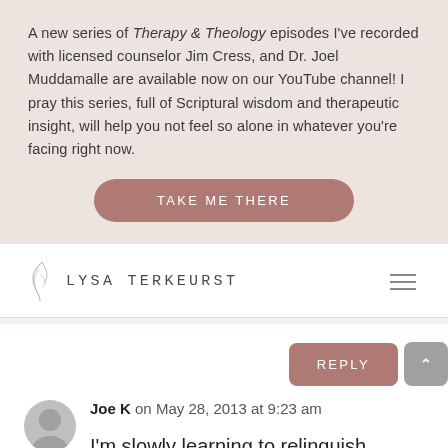A new series of Therapy & Theology episodes I've recorded with licensed counselor Jim Cress, and Dr. Joel Muddamalle are available now on our YouTube channel! I pray this series, full of Scriptural wisdom and therapeutic insight, will help you not feel so alone in whatever you're facing right now.
TAKE ME THERE
[Figure (logo): Lysa TerKeurst logo with decorative leaf/branch motif]
REPLY
Joe K on May 28, 2013 at 9:23 am
I'm slowly learning to relinquish control. Sometimes I feel overly